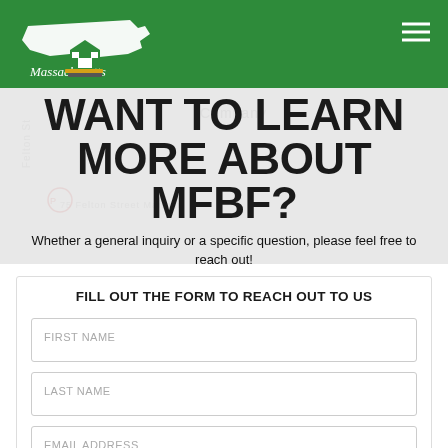Massachusetts Farm Bureau Federation
WANT TO LEARN MORE ABOUT MFBF?
Whether a general inquiry or a specific question, please feel free to reach out!
FILL OUT THE FORM TO REACH OUT TO US
FIRST NAME
LAST NAME
EMAIL ADDRESS